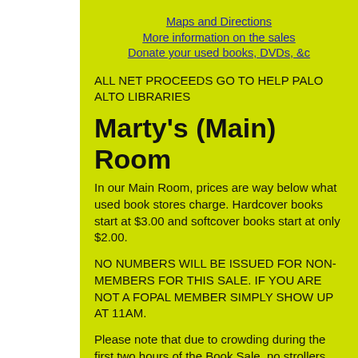Maps and Directions
More information on the sales
Donate your used books, DVDs, &c
ALL NET PROCEEDS GO TO HELP PALO ALTO LIBRARIES
Marty's (Main) Room
In our Main Room, prices are way below what used book stores charge. Hardcover books start at $3.00 and softcover books start at only $2.00.
NO NUMBERS WILL BE ISSUED FOR NON-MEMBERS FOR THIS SALE. IF YOU ARE NOT A FOPAL MEMBER SIMPLY SHOW UP AT 11AM.
Please note that due to crowding during the first two hours of the Book Sale, no strollers, rolling carts, etc. can be brought into the Main Room. This is for the safety of shoppers and...